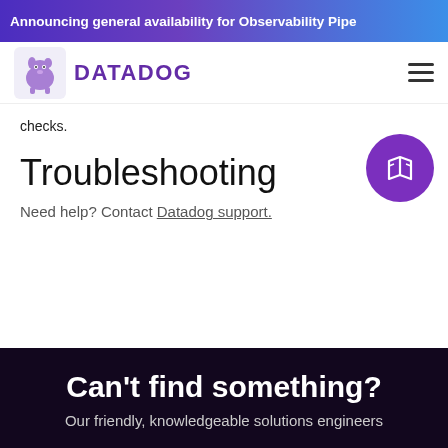Announcing general availability for Observability Pipe
[Figure (logo): Datadog logo with dog icon and DATADOG text in purple]
checks.
Troubleshooting
Need help? Contact Datadog support.
[Figure (illustration): Purple circle with white open book / map icon]
Can't find something?
Our friendly, knowledgeable solutions engineers